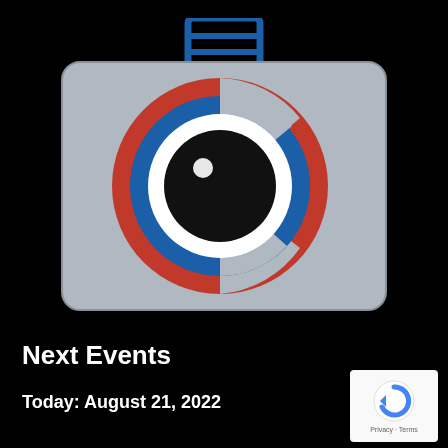[Figure (logo): Camera club logo: a grey camera body with a blue flash unit on top, and a circular lens with concentric red, white, and blue rings around a black lens with a white highlight dot.]
Next Events
Today: August 21, 2022
[Figure (logo): reCAPTCHA badge with blue arrow icon and Privacy - Terms text below.]